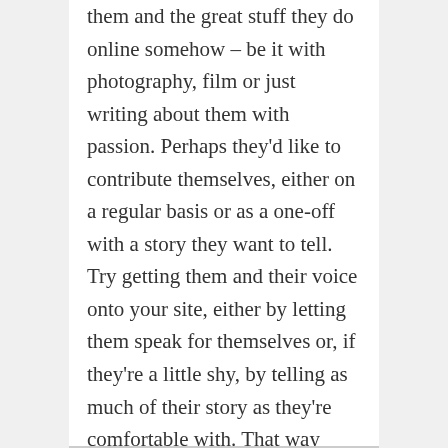them and the great stuff they do online somehow – be it with photography, film or just writing about them with passion. Perhaps they'd like to contribute themselves, either on a regular basis or as a one-off with a story they want to tell. Try getting them and their voice onto your site, either by letting them speak for themselves or, if they're a little shy, by telling as much of their story as they're comfortable with. That way your site starts talking about 'who', as well as about 'where' and 'what'.